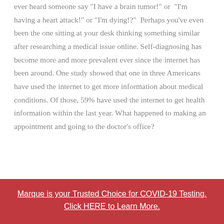ever heard someone say "I have a brain tumor!" or "I'm having a heart attack!" or "I'm dying!?" Perhaps you've even been the one sitting at your desk thinking something similar after researching a medical issue online. Self-diagnosing has become more and more prevalent ever since the internet has been around. One study showed that one in three Americans have used the internet to get more information about medical conditions. Of those, 59% have used the internet to get health information within the last year. What happened to making an appointment and going to the doctor's office?
life has gotten so hectic that we have reduced visiting...
Marque is your Trusted Choice for COVID-19 Testing. Click HERE to Learn More.